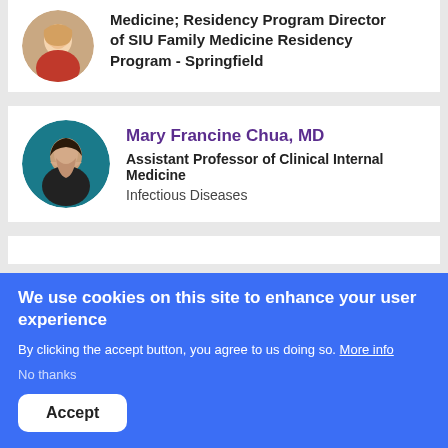Medicine; Residency Program Director of SIU Family Medicine Residency Program - Springfield
Mary Francine Chua, MD
Assistant Professor of Clinical Internal Medicine
Infectious Diseases
We use cookies on this site to enhance your user experience
By clicking the accept button, you agree to us doing so. More info
No thanks
Accept